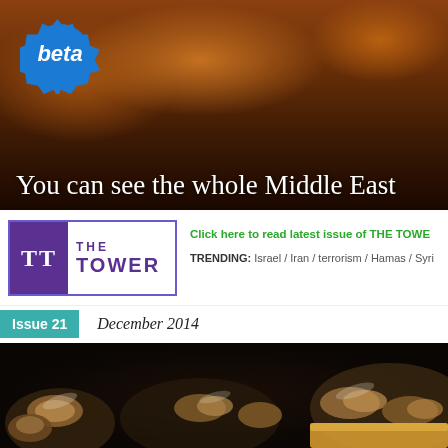[Figure (photo): Mountain landscape with reddish-brown rocky cliffs, banner background image]
[Figure (logo): Beta starburst badge in blue]
You can see the whole Middle East
[Figure (logo): The Tower magazine logo - purple square with TT monogram and THE TOWER text]
Click here to read latest issue of THE TOWER
TRENDING: Israel / Iran / terrorism / Hamas / Syria
Issue 21   December 2014
[Figure (photo): Close-up photo of bees on honeycomb/dark background with yellow pollen]